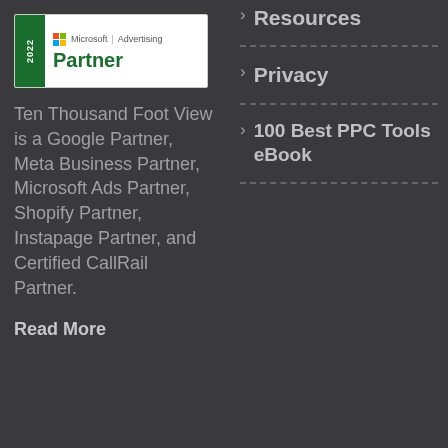[Figure (logo): Microsoft Advertising 2022 Partner badge with green left bar and Microsoft logo]
Ten Thousand Foot View is a Google Partner, Meta Business Partner, Microsoft Ads Partner, Shopify Partner, Instapage Partner, and Certified CallRail Partner.
Read More
Resources
Privacy
100 Best PPC Tools eBook